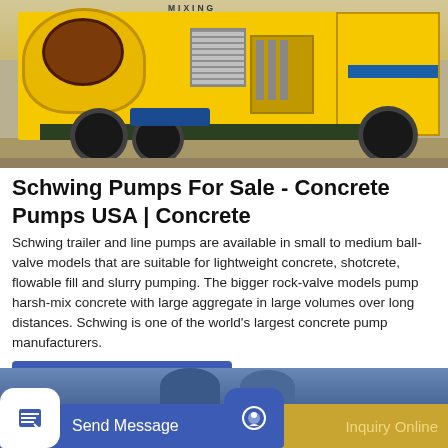[Figure (photo): Yellow Schwing concrete pump / mixer machine on a trailer with wheels, labeled MIXING on top, with radiator and blue stripe visible, parked on a paved surface]
Schwing Pumps For Sale - Concrete Pumps USA | Concrete
Schwing trailer and line pumps are available in small to medium ball-valve models that are suitable for lightweight concrete, shotcrete, flowable fill and slurry pumping. The bigger rock-valve models pump harsh-mix concrete with large aggregate in large volumes over long distances. Schwing is one of the world's largest concrete pump manufacturers.
GET A QUOTE
[Figure (photo): Partial view of a second image at the bottom of the page showing workers/people with helmets, partially cropped]
Send Message
Inquiry Online